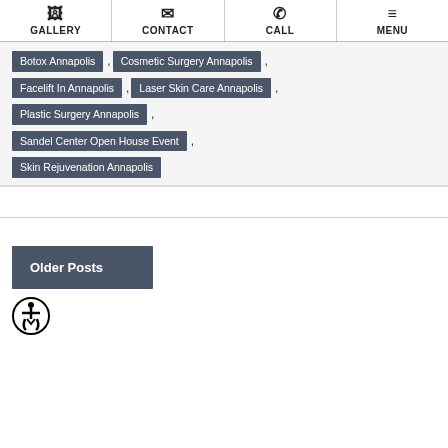GALLERY | CONTACT | CALL | MENU
Botox Annapolis
Cosmetic Surgery Annapolis
Facelift In Annapolis
Laser Skin Care Annapolis
Plastic Surgery Annapolis
Sandel Center Open House Event
Skin Rejuvenation Annapolis
Older Posts